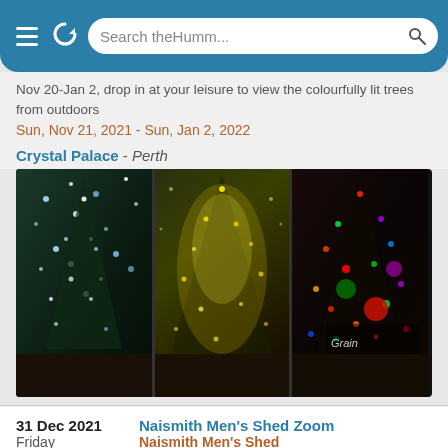[Figure (screenshot): Browser top navigation bar with hamburger menu icon, refresh icon, and search bar reading 'Search theHumm...']
Nov 20-Jan 2, drop in at your leisure to view the colourfully lit trees from outdoors
Sun, Nov 21, 2021 - Sun, Jan 2, 2022
Crystal Palace - Perth
[Figure (photo): Three panels of decorated Christmas trees lit with colourful lights in a glass building interior. Right panel shows 'Grain & Grocey' storefront branding.]
31 Dec 2021 Friday
Naismith Men's Shed Zoom
Naismith Men's Shed